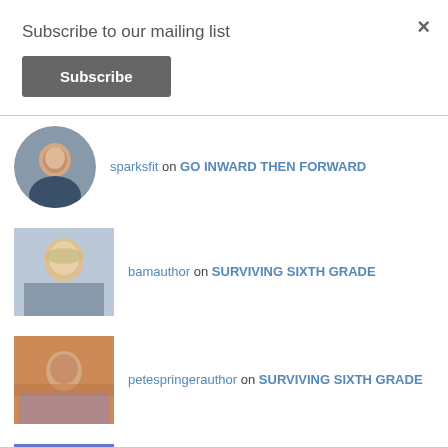Subscribe to our mailing list
Subscribe
sparksfit on GO INWARD THEN FORWARD
bamauthor on SURVIVING SIXTH GRADE
petespringerauthor on SURVIVING SIXTH GRADE
multiculturalchildre… on A MISSED OPPORTUNITY? #READYOU…
bamauthor on MORE THAN MEETS THE EYE